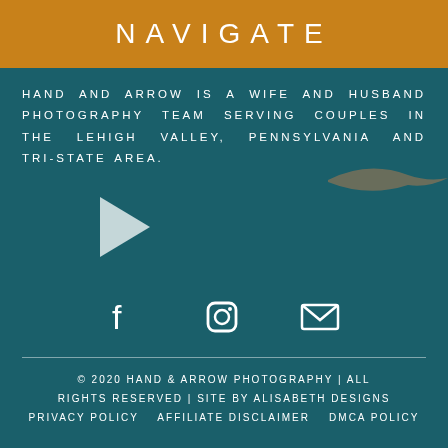NAVIGATE
HAND AND ARROW IS A WIFE AND HUSBAND PHOTOGRAPHY TEAM SERVING COUPLES IN THE LEHIGH VALLEY, PENNSYLVANIA AND TRI-STATE AREA.
[Figure (other): Play button icon (white triangle) for video playback]
[Figure (other): Social media icons: Facebook, Instagram, Email]
© 2020 HAND & ARROW PHOTOGRAPHY | ALL RIGHTS RESERVED | SITE BY ALISABETH DESIGNS PRIVACY POLICY   AFFILIATE DISCLAIMER   DMCA POLICY